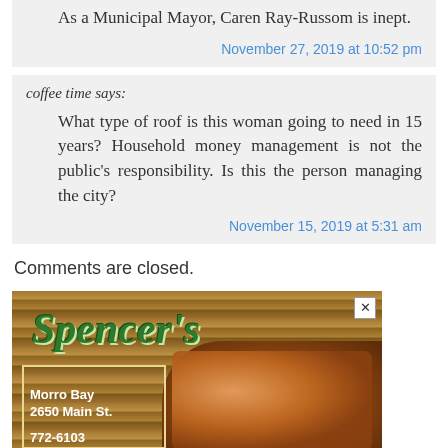As a Municipal Mayor, Caren Ray-Russom is inept.
November 27, 2019 at 10:52 pm
coffee time says:
What type of roof is this woman going to need in 15 years? Household money management is not the public's responsibility. Is this the person managing the city?
November 15, 2019 at 5:31 am
Comments are closed.
[Figure (photo): Spencer's restaurant advertisement showing logo with food and location details for Morro Bay, 2650 Main St., 772-6103]